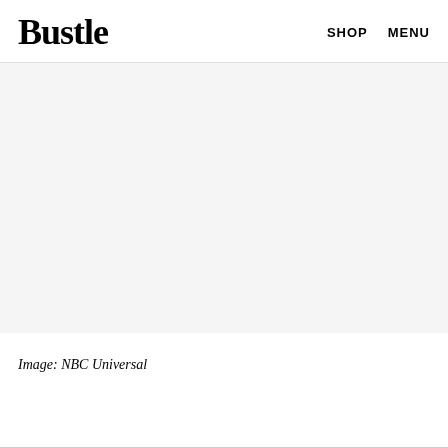Bustle | SHOP  MENU
[Figure (photo): Large image placeholder with light gray background, content not visible]
Image: NBC Universal